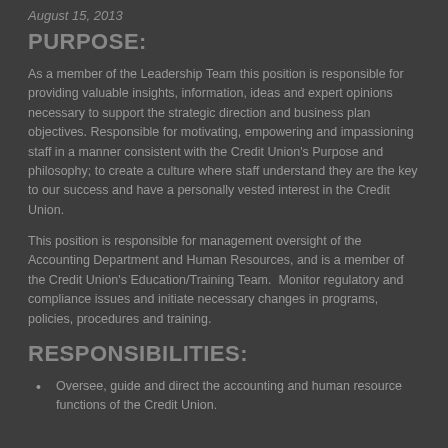August 15, 2013
PURPOSE:
As a member of the Leadership Team this position is responsible for providing valuable insights, information, ideas and expert opinions necessary to support the strategic direction and business plan objectives. Responsible for motivating, empowering and impassioning staff in a manner consistent with the Credit Union's Purpose and philosophy; to create a culture where staff understand they are the key to our success and have a personally vested interest in the Credit Union.
This position is responsible for management oversight of the Accounting Department and Human Resources, and is a member of the Credit Union's Education/Training Team.  Monitor regulatory and compliance issues and initiate necessary changes in programs, policies, procedures and training.
RESPONSIBILITIES:
Oversee, guide and direct the accounting and human resource functions of the Credit Union.